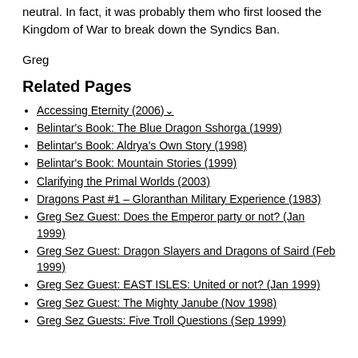neutral. In fact, it was probably them who first loosed the Kingdom of War to break down the Syndics Ban.
Greg
Related Pages
Accessing Eternity (2006)↵
Belintar's Book: The Blue Dragon Sshorga (1999)
Belintar's Book: Aldrya's Own Story (1998)
Belintar's Book: Mountain Stories (1999)
Clarifying the Primal Worlds (2003)
Dragons Past #1 – Gloranthan Military Experience (1983)
Greg Sez Guest: Does the Emperor party or not? (Jan 1999)
Greg Sez Guest: Dragon Slayers and Dragons of Saird (Feb 1999)
Greg Sez Guest: EAST ISLES: United or not? (Jan 1999)
Greg Sez Guest: The Mighty Janube (Nov 1998)
Greg Sez Guests: Five Troll Questions (Sep 1999)